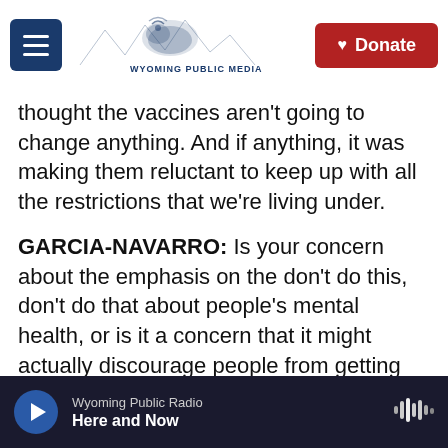Wyoming Public Media | Donate
thought the vaccines aren't going to change anything. And if anything, it was making them reluctant to keep up with all the restrictions that we're living under.
GARCIA-NAVARRO: Is your concern about the emphasis on the don't do this, don't do that about people's mental health, or is it a concern that it might actually discourage people from getting the vaccine? I mean, what exactly is the problem with sort of advising people that the vaccines are not 100% effective? - because, in fact, they're not.
THEFKO: Well, th...
Wyoming Public Radio | Here and Now